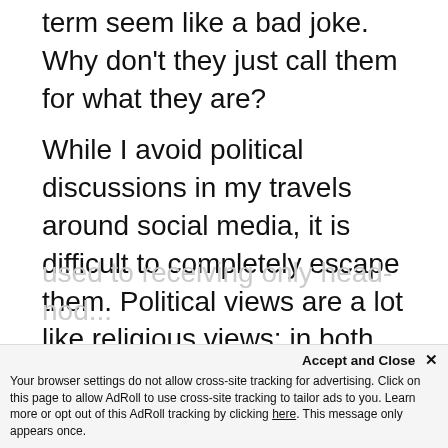term seem like a bad joke. Why don't they just call them for what they are?
While I avoid political discussions in my travels around social media, it is difficult to completely escape them. Political views are a lot like religious views: in both cases people know what they believe, they tend to associate with like-minded people so their opinions are not challenged, and when they leave their charmed circle they are shocked to find their views challenged when they are used to receiving only head-nod...
themselves in the position of...
Accept and Close ×
Your browser settings do not allow cross-site tracking for advertising. Click on this page to allow AdRoll to use cross-site tracking to tailor ads to you. Learn more or opt out of this AdRoll tracking by clicking here. This message only appears once.